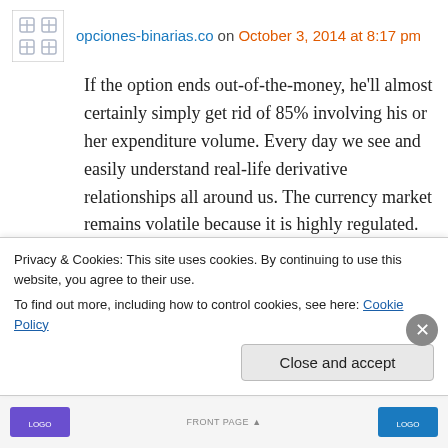opciones-binarias.co on October 3, 2014 at 8:17 pm
If the option ends out-of-the-money, he'll almost certainly simply get rid of 85% involving his or her expenditure volume. Every day we see and easily understand real-life derivative relationships all around us. The currency market remains volatile because it is highly regulated.
Privacy & Cookies: This site uses cookies. By continuing to use this website, you agree to their use. To find out more, including how to control cookies, see here: Cookie Policy
Close and accept